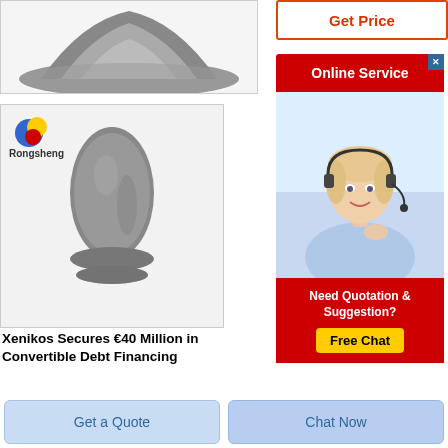[Figure (photo): Gray powder material pile on white background]
[Figure (photo): Rongsheng branded gray powdered material shaped into a bullet/cone form on a stand]
Xenikos Secures €40 Million in Convertible Debt Financing
[Figure (infographic): Get Price button (orange border, orange text)]
[Figure (infographic): Online Service banner in red with close X, agent photo, Need Quotation & Suggestion, Free Chat button]
Get a Quote
Chat Now